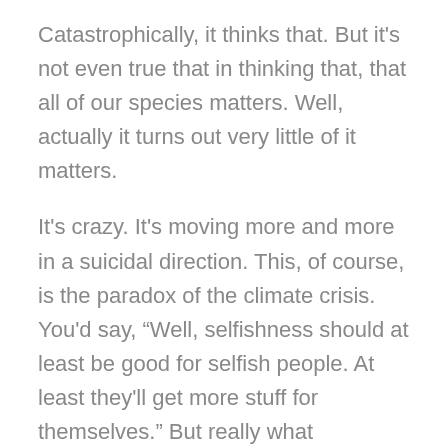Catastrophically, it thinks that. But it's not even true that in thinking that, that all of our species matters. Well, actually it turns out very little of it matters.

It's crazy. It's moving more and more in a suicidal direction. This, of course, is the paradox of the climate crisis. You'd say, “Well, selfishness should at least be good for selfish people. At least they'll get more stuff for themselves.” But really what selfishness is doing is it's cutting ourselves off from our own species. It's cutting our species itself off from all the climates that make it